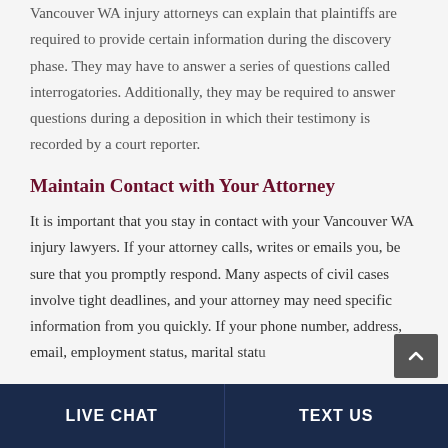Vancouver WA injury attorneys can explain that plaintiffs are required to provide certain information during the discovery phase. They may have to answer a series of questions called interrogatories. Additionally, they may be required to answer questions during a deposition in which their testimony is recorded by a court reporter.
Maintain Contact with Your Attorney
It is important that you stay in contact with your Vancouver WA injury lawyers. If your attorney calls, writes or emails you, be sure that you promptly respond. Many aspects of civil cases involve tight deadlines, and your attorney may need specific information from you quickly. If your phone number, address, email, employment status, marital status...
LIVE CHAT | TEXT US